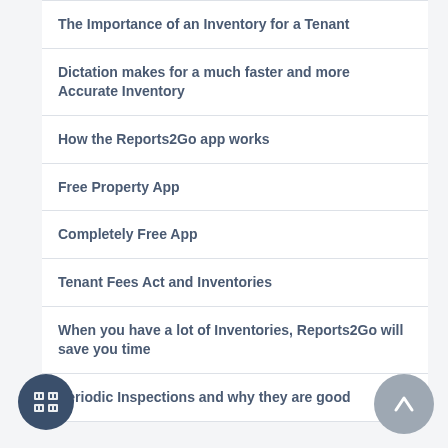The Importance of an Inventory for a Tenant
Dictation makes for a much faster and more Accurate Inventory
How the Reports2Go app works
Free Property App
Completely Free App
Tenant Fees Act and Inventories
When you have a lot of Inventories, Reports2Go will save you time
Periodic Inspections and why they are good